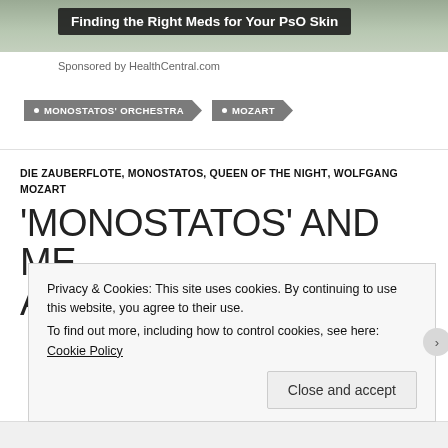[Figure (photo): Top portion of a web page showing a cropped background image (nature/skin tones)]
Finding the Right Meds for Your PsO Skin
Sponsored by HealthCentral.com
• MONOSTATOS' ORCHESTRA
• MOZART
DIE ZAUBERFLOTE, MONOSTATOS, QUEEN OF THE NIGHT, WOLFGANG MOZART
'MONOSTATOS' AND ME
AND THE OPERA DIE
Privacy & Cookies: This site uses cookies. By continuing to use this website, you agree to their use.
To find out more, including how to control cookies, see here: Cookie Policy
Close and accept